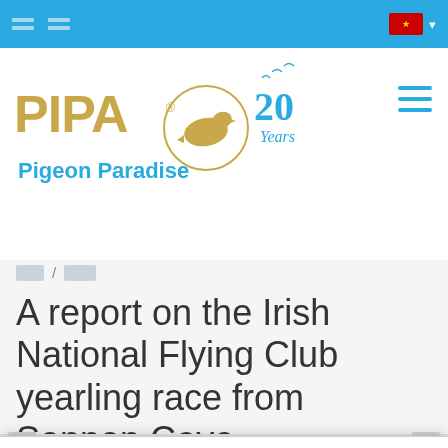[navigation icons] [flag dropdown]
[Figure (logo): PIPA Pigeon Paradise logo with pigeon circle emblem and '20 Years' anniversary text with flying birds]
[breadcrumb navigation]
A report on the Irish National Flying Club yearling race from Sennen Cove
We use cookies on this site to enhance your user experience
By clicking the Accept button, you agree to us doing so. [more info link]
Accept [decline link]